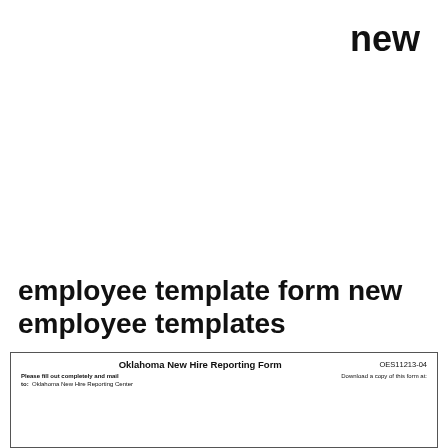new
employee template form new employee templates
[Figure (other): Preview thumbnail of Oklahoma New Hire Reporting Form with form code OES11213-04, showing 'Please fill out completely and mail to: Oklahoma New Hire Reporting Center' on the left and 'Download a copy of this form at:' on the right.]